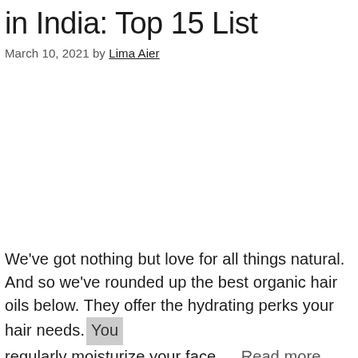in India: Top 15 List
March 10, 2021 by Lima Aier
We've got nothing but love for all things natural. And so we've rounded up the best organic hair oils below. They offer the hydrating perks your hair needs. You regularly moisturize your face … Read more